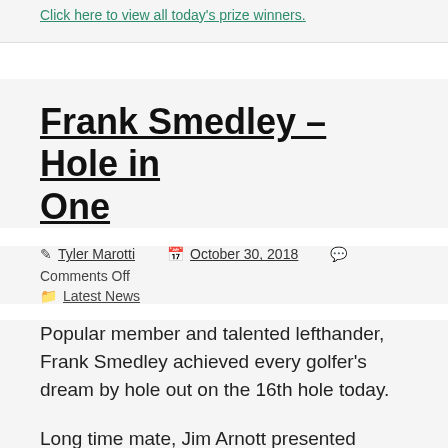Click here to view all today's prize winners.
Frank Smedley – Hole in One
Tyler Marotti   October 30, 2018   Comments Off   Latest News
Popular member and talented lefthander, Frank Smedley achieved every golfer's dream by hole out on the 16th hole today.
Long time mate, Jim Arnott presented Frank with a dozen golf balls at today's presentation and had to confess that Frank hit an excellent shot to achieve...